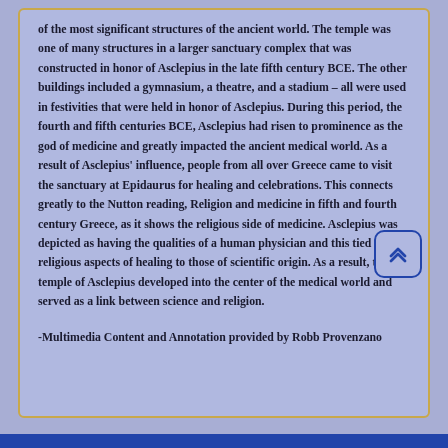of the most significant structures of the ancient world. The temple was one of many structures in a larger sanctuary complex that was constructed in honor of Asclepius in the late fifth century BCE. The other buildings included a gymnasium, a theatre, and a stadium – all were used in festivities that were held in honor of Asclepius. During this period, the fourth and fifth centuries BCE, Asclepius had risen to prominence as the god of medicine and greatly impacted the ancient medical world. As a result of Asclepius' influence, people from all over Greece came to visit the sanctuary at Epidaurus for healing and celebrations. This connects greatly to the Nutton reading, Religion and medicine in fifth and fourth century Greece, as it shows the religious side of medicine. Asclepius was depicted as having the qualities of a human physician and this tied the religious aspects of healing to those of scientific origin. As a result, the temple of Asclepius developed into the center of the medical world and served as a link between science and religion.
-Multimedia Content and Annotation provided by Robb Provenzano